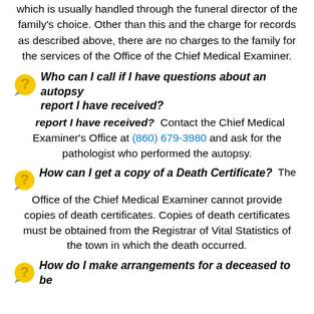which is usually handled through the funeral director of the family's choice. Other than this and the charge for records as described above, there are no charges to the family for the services of the Office of the Chief Medical Examiner.
Who can I call if I have questions about an autopsy report I have received? Contact the Chief Medical Examiner's Office at (860) 679-3980 and ask for the pathologist who performed the autopsy.
How can I get a copy of a Death Certificate? The Office of the Chief Medical Examiner cannot provide copies of death certificates. Copies of death certificates must be obtained from the Registrar of Vital Statistics of the town in which the death occurred.
How do I make arrangements for a deceased to be